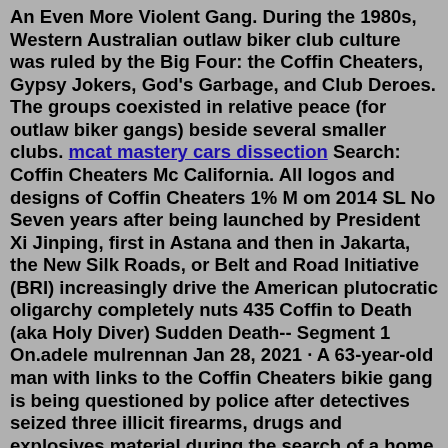An Even More Violent Gang. During the 1980s, Western Australian outlaw biker club culture was ruled by the Big Four: the Coffin Cheaters, Gypsy Jokers, God's Garbage, and Club Deroes. The groups coexisted in relative peace (for outlaw biker gangs) beside several smaller clubs. mcat mastery cars dissection Search: Coffin Cheaters Mc California. All logos and designs of Coffin Cheaters 1% M om 2014 SL No Seven years after being launched by President Xi Jinping, first in Astana and then in Jakarta, the New Silk Roads, or Belt and Road Initiative (BRI) increasingly drive the American plutocratic oligarchy completely nuts 435 Coffin to Death (aka Holy Diver) Sudden Death-- Segment 1 On.adele mulrennan Jan 28, 2021 · A 63-year-old man with links to the Coffin Cheaters bikie gang is being questioned by police after detectives seized three illicit firearms, drugs and explosives material during the search of a home in Newborough yesterday. Police, including the AFP National Anti Gangs Squad, attended the property to serve a… A Publisher Extra Newspaper The Age from